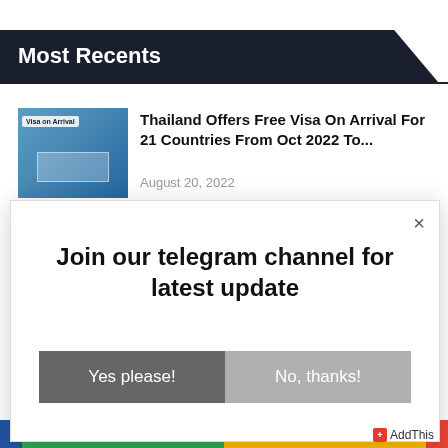Most Recents
[Figure (photo): Thumbnail photo of an airport visa-on-arrival counter with blue equipment and signage]
Thailand Offers Free Visa On Arrival For 21 Countries From Oct 2022 To...
August 20, 2022
Join our telegram channel for latest update
Yes please!
No, thanks!